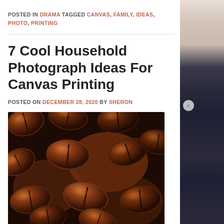POSTED IN DRAMA TAGGED CANVAS, FAMILY, IDEAS, PHOTO, PRINTING
7 Cool Household Photograph Ideas For Canvas Printing
POSTED ON DECEMBER 28, 2020 BY SHERON
[Figure (photo): Close-up macro photograph of roasted coffee beans, dark brown and glossy, filling the entire frame]